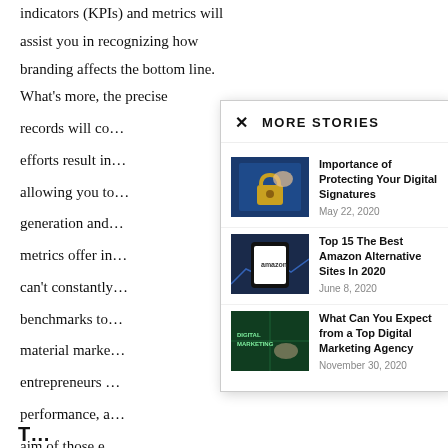indicators (KPIs) and metrics will assist you in recognizing how branding affects the bottom line. What's more, the precise records will co… efforts result in… allowing you to… generation and… metrics offer in… can't constantly… benchmarks to… material marke… entrepreneurs … performance, a… aim of those e… percentage).
MORE STORIES
[Figure (photo): Blue padlock with hand and digital signature concept]
Importance of Protecting Your Digital Signatures
May 22, 2020
[Figure (photo): Hand holding phone showing Amazon app with stock market background]
Top 15 The Best Amazon Alternative Sites In 2020
June 8, 2020
[Figure (photo): Digital Marketing text with glowing digital elements]
What Can You Expect from a Top Digital Marketing Agency
November 30, 2020
T...